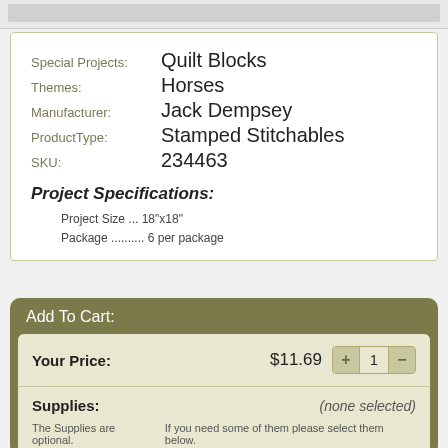Special Projects: Quilt Blocks
Themes: Horses
Manufacturer: Jack Dempsey
ProductType: Stamped Stitchables
SKU: 234463
Project Specifications:
Project Size ... 18"x18"
Package ......... 6 per package
Add To Cart:
Your Price: $11.69  1
Supplies: (none selected)
The Supplies are optional. If you need some of them please select them below.